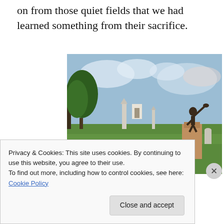on from those quiet fields that we had learned something from their sacrifice.
[Figure (photo): A battlefield memorial scene with a bronze soldier statue on a tall pedestal on the right, multiple obelisk monuments in the background, open green fields, and trees under a partly cloudy sky.]
Privacy & Cookies: This site uses cookies. By continuing to use this website, you agree to their use.
To find out more, including how to control cookies, see here: Cookie Policy